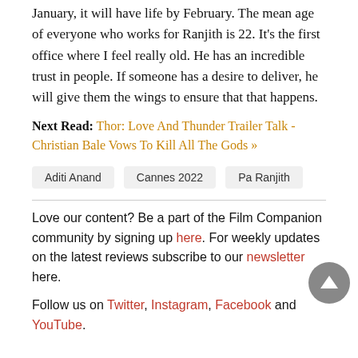January, it will have life by February. The mean age of everyone who works for Ranjith is 22. It’s the first office where I feel really old. He has an incredible trust in people. If someone has a desire to deliver, he will give them the wings to ensure that that happens.
Next Read: Thor: Love And Thunder Trailer Talk - Christian Bale Vows To Kill All The Gods »
Aditi Anand
Cannes 2022
Pa Ranjith
Love our content? Be a part of the Film Companion community by signing up here. For weekly updates on the latest reviews subscribe to our newsletter here.
Follow us on Twitter, Instagram, Facebook and YouTube.